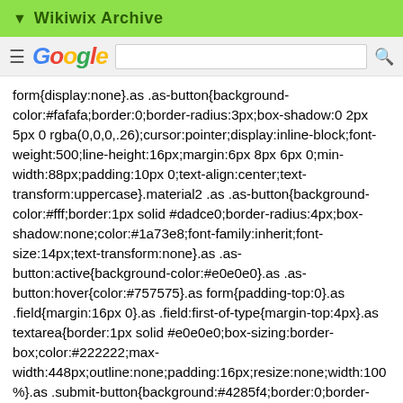▼ Wikiwix Archive
[Figure (screenshot): Google search bar with hamburger menu, Google logo, search input, and search icon]
form{display:none}.as .as-button{background-color:#fafafa;border:0;border-radius:3px;box-shadow:0 2px 5px 0 rgba(0,0,0,.26);cursor:pointer;display:inline-block;font-weight:500;line-height:16px;margin:6px 8px 6px 0;min-width:88px;padding:10px 0;text-align:center;text-transform:uppercase}.material2 .as .as-button{background-color:#fff;border:1px solid #dadce0;border-radius:4px;box-shadow:none;color:#1a73e8;font-family:inherit;font-size:14px;text-transform:none}.as .as-button:active{background-color:#e0e0e0}.as .as-button:hover{color:#757575}.as form{padding-top:0}.as .field{margin:16px 0}.as .field:first-of-type{margin-top:4px}.as textarea{border:1px solid #e0e0e0;box-sizing:border-box;color:#222222;max-width:448px;outline:none;padding:16px;resize:none;width:100%}.as .submit-button{background:#4285f4;border:0;border-radius:3px;box-shadow:0 2px 5px 0 rgba(0,0,0,.26);color:#fff;font-size:14px;font-weight:500;line-height:16px;margin-top:8px;outline:0;padding:10px 16px;text-transform:uppercase}.material2 .as .submit-button{text-transform:none}.as .submit-button:hover{background:#3b78e7;cursor:pointer;text-transform:uppercase}...